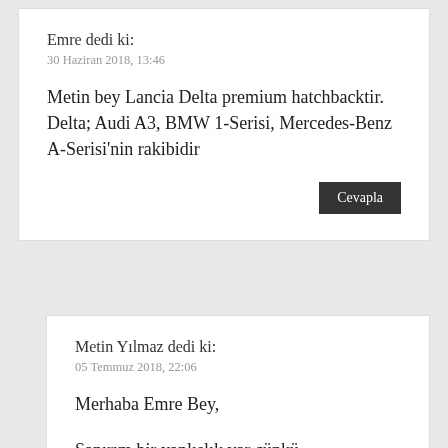Emre dedi ki:
30 Haziran 2018, 13:46
Metin bey Lancia Delta premium hatchbacktir. Delta; Audi A3, BMW 1-Serisi, Mercedes-Benz A-Serisi'nin rakibidir
Cevapla
Metin Yılmaz dedi ki:
05 Temmuz 2018, 22:06
Merhaba Emre Bey,
Sanırım bir yanlışlık var çünkü